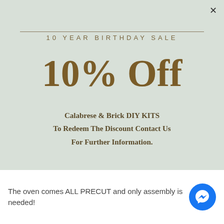10 YEAR BIRTHDAY SALE
10% Off
Calabrese & Brick DIY KITS
To Redeem The Discount Contact Us
For Further Information.
The oven comes ALL PRECUT and only assembly is needed!